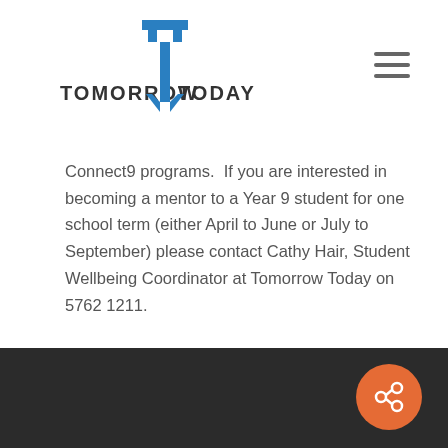[Figure (logo): Tomorrow Today logo with stylized T arrow icon in blue/dark grey]
Connect9 programs.  If you are interested in becoming a mentor to a Year 9 student for one school term (either April to June or July to September) please contact Cathy Hair, Student Wellbeing Coordinator at Tomorrow Today on 5762 1211.